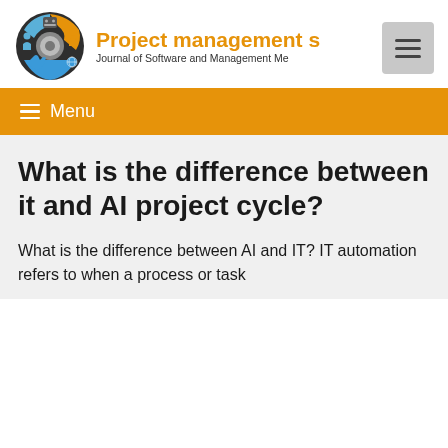[Figure (logo): Circular gear/cog logo with person, robot, globe, and hand icons in orange, blue, and dark grey]
Project management s — Journal of Software and Management Me
[Figure (other): Hamburger menu button (three horizontal lines) in grey box]
≡ Menu
What is the difference between it and AI project cycle?
What is the difference between AI and IT? IT automation refers to when a process or task